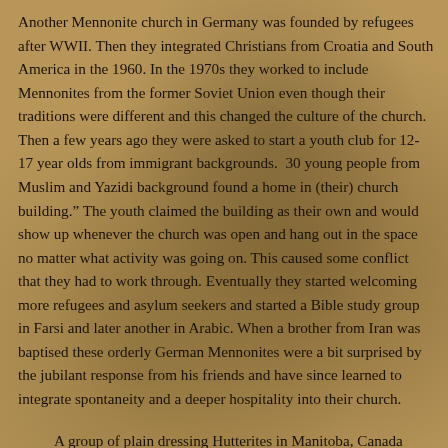Another Mennonite church in Germany was founded by refugees after WWII. Then they integrated Christians from Croatia and South America in the 1960. In the 1970s they worked to include Mennonites from the former Soviet Union even though their traditions were different and this changed the culture of the church. Then a few years ago they were asked to start a youth club for 12-17 year olds from immigrant backgrounds.  30 young people from Muslim and Yazidi background found a home in (their) church building.” The youth claimed the building as their own and would show up whenever the church was open and hang out in the space no matter what activity was going on. This caused some conflict that they had to work through. Eventually they started welcoming more refugees and asylum seekers and started a Bible study group in Farsi and later another in Arabic. When a brother from Iran was baptised these orderly German Mennonites were a bit surprised by the jubilant response from his friends and have since learned to integrate spontaneity and a deeper hospitality into their church.
A group of plain dressing Hutterites in Manitoba, Canada have welcomed a Syrian refugee family and found that they have